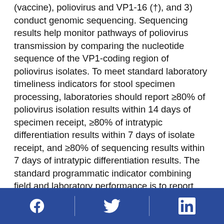(vaccine), poliovirus and VP1-16 (†), and 3) conduct genomic sequencing. Sequencing results help monitor pathways of poliovirus transmission by comparing the nucleotide sequence of the VP1-coding region of poliovirus isolates. To meet standard laboratory timeliness indicators for stool specimen processing, laboratories should report ≥80% of poliovirus isolation results within 14 days of specimen receipt, ≥80% of intratypic differentiation results within 7 days of isolate receipt, and ≥80% of sequencing results within 7 days of intratypic differentiation results. The standard programmatic indicator combining field and laboratory performance is to report intratypic differentiation results for ≥80% of isolates from AFP cases within 60 days of paralysis onset. This indicator considers the entire interval from paralysis onset to specimen testing. The
Facebook | Twitter | LinkedIn